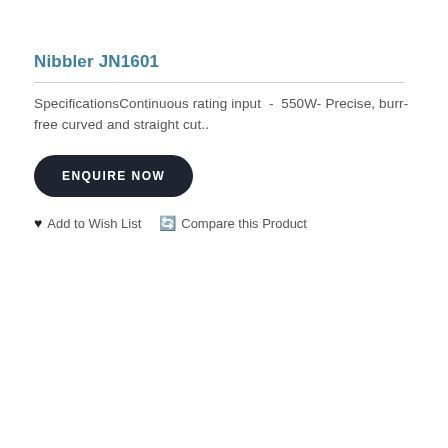Nibbler JN1601
SpecificationsContinuous rating input  -  550W- Precise, burr-free curved and straight cut..
ENQUIRE NOW
♥ Add to Wish List  🔄 Compare this Product